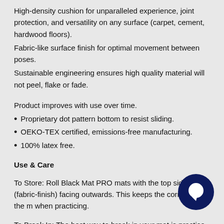High-density cushion for unparalleled experience, joint protection, and versatility on any surface (carpet, cement, hardwood floors).
Fabric-like surface finish for optimal movement between poses.
Sustainable engineering ensures high quality material will not peel, flake or fade.
Product improves with use over time.
Proprietary dot pattern bottom to resist sliding.
OEKO-TEX certified, emissions-free manufacturing.
100% latex free.
Use & Care
To Store: Roll Black Mat PRO mats with the top side (fabric-finish) facing outwards. This keeps the corners of the m when practicing.
To Break In: The best way to break in your mat is practice,